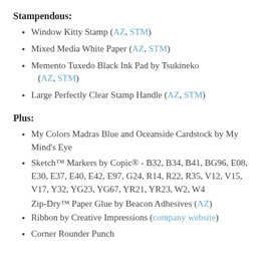Stampendous:
Window Kitty Stamp (AZ, STM)
Mixed Media White Paper (AZ, STM)
Memento Tuxedo Black Ink Pad by Tsukineko (AZ, STM)
Large Perfectly Clear Stamp Handle (AZ, STM)
Plus:
My Colors Madras Blue and Oceanside Cardstock by My Mind's Eye
Sketch™ Markers by Copic® - B32, B34, B41, BG96, E08, E30, E37, E40, E42, E97, G24, R14, R22, R35, V12, V15, V17, Y32, YG23, YG67, YR21, YR23, W2, W4
Zip-Dry™ Paper Glue by Beacon Adhesives (AZ)
Ribbon by Creative Impressions (company website)
Corner Rounder Punch